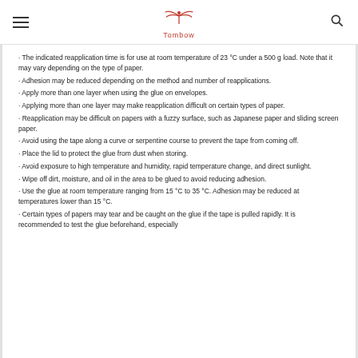Tombow
The indicated reapplication time is for use at room temperature of 23 °C under a 500 g load. Note that it may vary depending on the type of paper.
Adhesion may be reduced depending on the method and number of reapplications.
Apply more than one layer when using the glue on envelopes.
Applying more than one layer may make reapplication difficult on certain types of paper.
Reapplication may be difficult on papers with a fuzzy surface, such as Japanese paper and sliding screen paper.
Avoid using the tape along a curve or serpentine course to prevent the tape from coming off.
Place the lid to protect the glue from dust when storing.
Avoid exposure to high temperature and humidity, rapid temperature change, and direct sunlight.
Wipe off dirt, moisture, and oil in the area to be glued to avoid reducing adhesion.
Use the glue at room temperature ranging from 15 °C to 35 °C. Adhesion may be reduced at temperatures lower than 15 °C.
Certain types of papers may tear and be caught on the glue if the tape is pulled rapidly. It is recommended to test the glue beforehand, especially